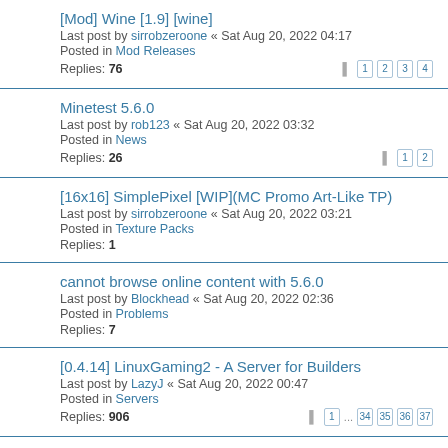[Mod] Wine [1.9] [wine] — Last post by sirrobzeroone « Sat Aug 20, 2022 04:17 — Posted in Mod Releases — Replies: 76 — Pages: 1 2 3 4
Minetest 5.6.0 — Last post by rob123 « Sat Aug 20, 2022 03:32 — Posted in News — Replies: 26 — Pages: 1 2
[16x16] SimplePixel [WIP](MC Promo Art-Like TP) — Last post by sirrobzeroone « Sat Aug 20, 2022 03:21 — Posted in Texture Packs — Replies: 1
cannot browse online content with 5.6.0 — Last post by Blockhead « Sat Aug 20, 2022 02:36 — Posted in Problems — Replies: 7
[0.4.14] LinuxGaming2 - A Server for Builders — Last post by LazyJ « Sat Aug 20, 2022 00:47 — Posted in Servers — Replies: 906 — Pages: 1 ... 34 35 36 37
[Modpack] TechPack [techpack] — Last post by Midnight Sapphire « Fri Aug 19, 2022 23:26 — Posted in Mod Releases — Replies: 162 — Pages: 1 ... 4 5 6 7